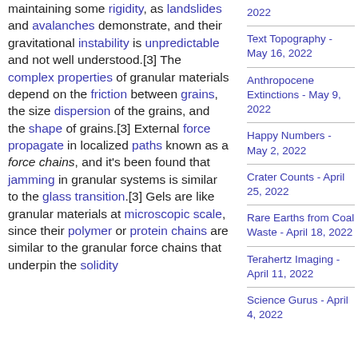maintaining some rigidity, as landslides and avalanches demonstrate, and their gravitational instability is unpredictable and not well understood.[3] The complex properties of granular materials depend on the friction between grains, the size dispersion of the grains, and the shape of grains.[3] External force propagate in localized paths known as a force chains, and it's been found that jamming in granular systems is similar to the glass transition.[3] Gels are like granular materials at microscopic scale, since their polymer or protein chains are similar to the granular force chains that underpin the solidity
2022
Text Topography - May 16, 2022
Anthropocene Extinctions - May 9, 2022
Happy Numbers - May 2, 2022
Crater Counts - April 25, 2022
Rare Earths from Coal Waste - April 18, 2022
Terahertz Imaging - April 11, 2022
Science Gurus - April 4, 2022